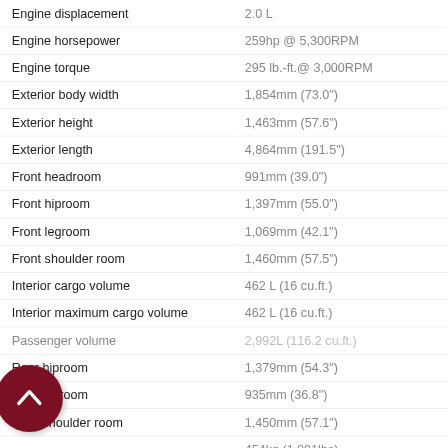| Specification | Value |
| --- | --- |
| Engine displacement | 2.0 L |
| Engine horsepower | 259hp @ 5,300RPM |
| Engine torque | 295 lb.-ft.@ 3,000RPM |
| Exterior body width | 1,854mm (73.0") |
| Exterior height | 1,463mm (57.6") |
| Exterior length | 4,864mm (191.5") |
| Front headroom | 991mm (39.0") |
| Front hiproom | 1,397mm (55.0") |
| Front legroom | 1,069mm (42.1") |
| Front shoulder room | 1,460mm (57.5") |
| Interior cargo volume | 462 L (16 cu.ft.) |
| Interior maximum cargo volume | 462 L (16 cu.ft.) |
| Passenger volume | 2,992L (116.2 cu.ft.) |
| Rear hiproom | 1,379mm (54.3") |
| Rear legroom | 935mm (36.8") |
| Rear shoulder room | 1,450mm (57.1") |
|  | 454kg (1,001lbs) |
|  | 5.7m (18.7') |
Hello, would you like to talk about our products?
English